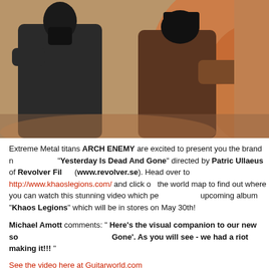[Figure (photo): Two people in dark clothing and masks in a smoky, action scene with orange/brown tones against a wall background]
Extreme Metal titans ARCH ENEMY are excited to present you the brand new video for "Yesterday Is Dead And Gone" directed by Patric Ullaeus of Revolver Films (www.revolver.se). Head over to http://www.khaoslegions.com/ and click on the world map to find out where you can watch this stunning video which previews the upcoming album "Khaos Legions" which will be in stores on May 30th!
Michael Amott comments: " Here's the visual companion to our new so... Gone'. As you will see - we had a riot making it!!! "
See the video here at Guitarworld.com